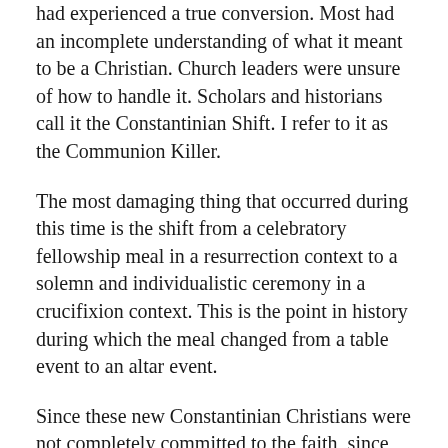had experienced a true conversion. Most had an incomplete understanding of what it meant to be a Christian. Church leaders were unsure of how to handle it. Scholars and historians call it the Constantinian Shift. I refer to it as the Communion Killer.
The most damaging thing that occurred during this time is the shift from a celebratory fellowship meal in a resurrection context to a solemn and individualistic ceremony in a crucifixion context. This is the point in history during which the meal changed from a table event to an altar event.
Since these new Constantinian Christians were not completely committed to the faith, since the numbers of people in the assemblies were growing larger and their lives were increasingly at odds with the faith, church leaders resorted to attempting to scare these Christians straight. And they used the Lord’s Supper to do it. It’s during the late 4th and early 5th centuries when the